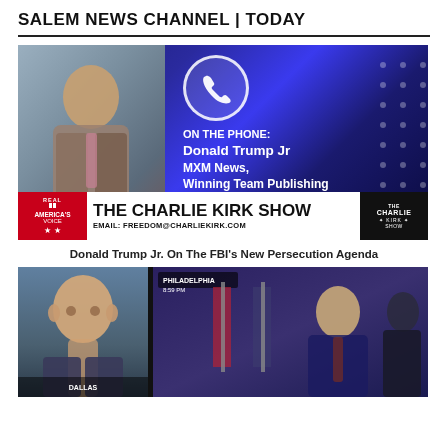SALEM NEWS CHANNEL | TODAY
[Figure (screenshot): TV screenshot from The Charlie Kirk Show on Real America's Voice, showing Donald Trump Jr. on the phone, with text 'ON THE PHONE: Donald Trump Jr MXM News, Winning Team Publishing'. Lower bar shows show title and email FREEDOM@CHARLIEKIRK.COM]
Donald Trump Jr. On The FBI's New Persecution Agenda
[Figure (screenshot): TV screenshot showing a bald man on left panel and President Biden speaking at a podium on right panel, split-screen news broadcast]